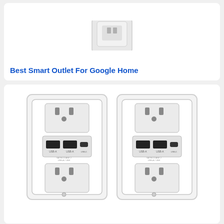[Figure (photo): Partial view of a smart plug or outlet device on white background, cropped at top]
Best Smart Outlet For Google Home
[Figure (photo): Two white wall outlets with USB-A, USB-A, and USB-C ports in the middle, shown side by side with wall plates, on white background]